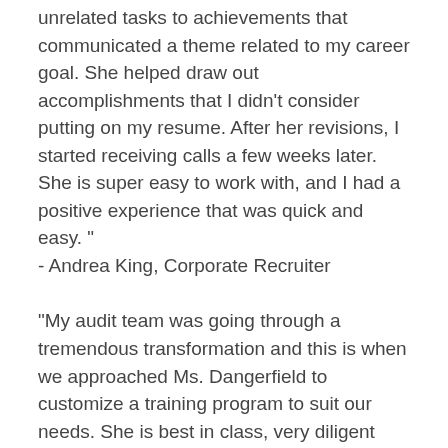unrelated tasks to achievements that communicated a theme related to my career goal. She helped draw out accomplishments that I didn't consider putting on my resume. After her revisions, I started receiving calls a few weeks later. She is super easy to work with, and I had a positive experience that was quick and easy. " - Andrea King, Corporate Recruiter
"My audit team was going through a tremendous transformation and this is when we approached Ms. Dangerfield to customize a training program to suit our needs. She is best in class, very diligent with understanding customer needs, can build a training curriculum customized to the needs of a team or an organization, and knows how to keep program participants